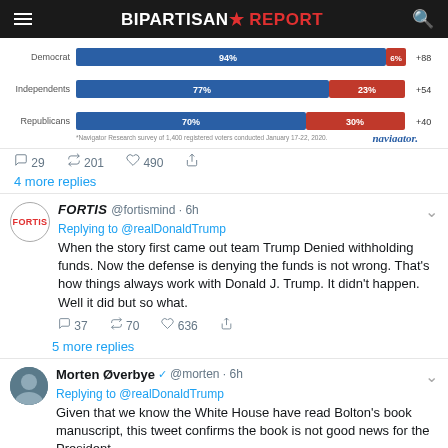BIPARTISAN REPORT
[Figure (stacked-bar-chart): Horizontal stacked bar chart with blue and red segments. Democrat 94%/6% +88, Independents 77%/23% +54, Republicans 70%/30% +40. Navigator Research survey of 1,400 registered voters conducted January 17-22, 2020.]
29  201  490
4 more replies
FORTIS @fortismind · 6h
Replying to @realDonaldTrump
When the story first came out team Trump Denied withholding funds. Now the defense is denying the funds is not wrong. That's how things always work with Donald J. Trump. It didn't happen. Well it did but so what.
37  70  636
5 more replies
Morten Øverbye @morten · 6h
Replying to @realDonaldTrump
Given that we know the White House have read Bolton's book manuscript, this tweet confirms the book is not good news for the President.
Donald J. Trump @realDonaldTrump · 6h
For a guy who couldn't get approved for the Ambassador to the U.N. years ago, couldn't get approved for anything since, "begged" me for a